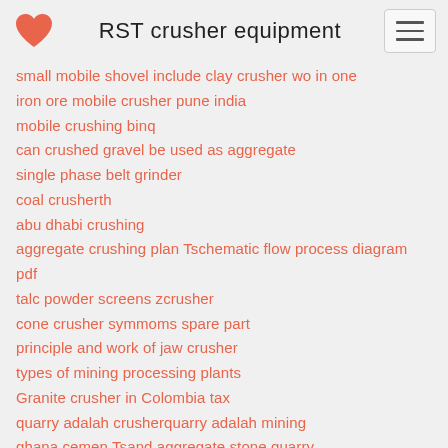RST crusher equipment
small mobile shovel include clay crusher wo in one
iron ore mobile crusher pune india
mobile crushing binq
can crushed gravel be used as aggregate
single phase belt grinder
coal crusherth
abu dhabi crushing
aggregate crushing plan Tschematic flow process diagram pdf
talc powder screens zcrusher
cone crusher symmoms spare part
principle and work of jaw crusher
types of mining processing plants
Granite crusher in Colombia tax
quarry adalah crusherquarry adalah mining
ghana cemen Tsand aggregate stone quarry
strongly remend sand making machine mobile crusher plant